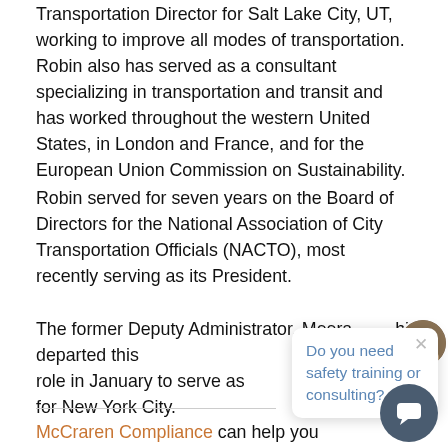Transportation Director for Salt Lake City, UT, working to improve all modes of transportation.  Robin also has served as a consultant specializing in transportation and transit and has worked throughout the western United States, in London and France, and for the European Union Commission on Sustainability.
Robin served for seven years on the Board of Directors for the National Association of City Transportation Officials (NACTO), most recently serving as its President.
The former Deputy Administrator, Meera [Joshi] departed this role in January to serve as [Deputy Mayor] for New York City.
McCraren Compliance can help you understand and comply with FMCSA, USDOT and ADOT and ensure your drivers and your vehicles operate safely and efficiently.
Call us Today at 888-758-4757 or email us